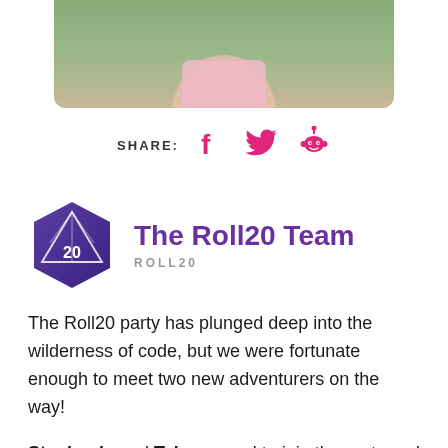[Figure (photo): Cropped photo of a person wearing a pink shirt outdoors, shown from mid-torso up against a green/garden background]
SHARE:
[Figure (logo): Roll20 logo: purple hexagon with a d20 dice icon]
The Roll20 Team
ROLL20
The Roll20 party has plunged deep into the wilderness of code, but we were fortunate enough to meet two new adventurers on the way!
Stephanie and Tyler agreed to join the party and help us cut through those gnarled branches and twisted vines. Please welcome Stephanie as our new Scrum Master, and Tyler as our new WebGL and Canvas Developer!